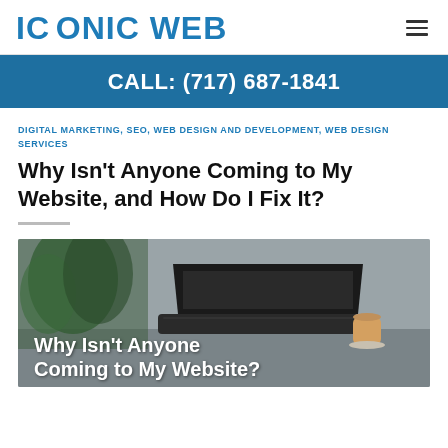ICONIC WEB
CALL: (717) 687-1841
DIGITAL MARKETING, SEO, WEB DESIGN AND DEVELOPMENT, WEB DESIGN SERVICES
Why Isn't Anyone Coming to My Website, and How Do I Fix It?
[Figure (photo): Hero image showing a laptop on a desk with a plant and coffee cup, overlaid with text 'Why Isn't Anyone Coming to My Website?']